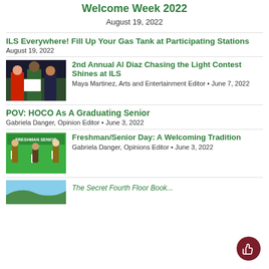Welcome Week 2022
August 19, 2022
ILS Everywhere! Fill Up Your Gas Tank at Participating Stations
August 19, 2022
[Figure (photo): Three people standing together, one in a green shirt, one in a red jacket]
2nd Annual Al Diaz Chasing the Light Contest Shines at ILS
Maya Martinez, Arts and Entertainment Editor • June 7, 2022
POV: HOCO As A Graduating Senior
Gabriela Danger, Opinion Editor • June 3, 2022
[Figure (photo): Freshman/Senior Day graphic with illustrated students holding ILS letters on green background]
Freshman/Senior Day: A Welcoming Tradition
Gabriela Danger, Opinions Editor • June 3, 2022
[Figure (photo): Partial photo at bottom of page, cut off]